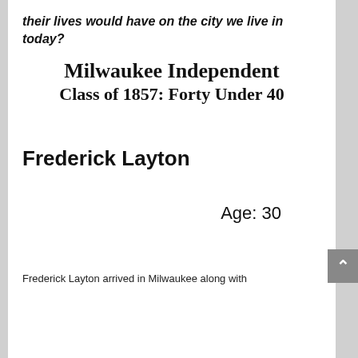their lives would have on the city we live in today?
Milwaukee Independent
Class of 1857: Forty Under 40
Frederick Layton
Age: 30
Frederick Layton arrived in Milwaukee along with